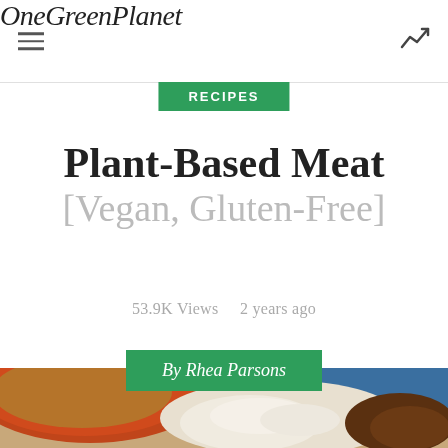OneGreenPlanet
RECIPES
Plant-Based Meat [Vegan, Gluten-Free]
53.9K Views   2 years ago
By Rhea Parsons
[Figure (photo): Food photo showing a bowl of soup and a plate with mashed/creamy food, partially visible at bottom of page]